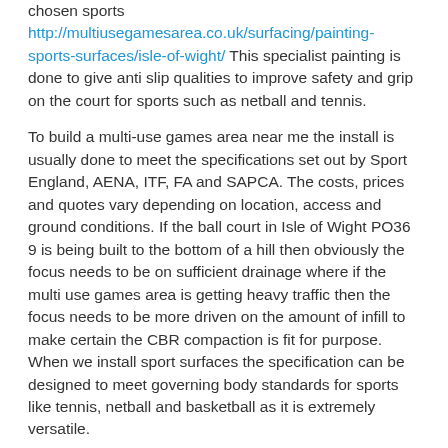chosen sports http://multiusegamesarea.co.uk/surfacing/painting-sports-surfaces/isle-of-wight/ This specialist painting is done to give anti slip qualities to improve safety and grip on the court for sports such as netball and tennis.
To build a multi-use games area near me the install is usually done to meet the specifications set out by Sport England, AENA, ITF, FA and SAPCA. The costs, prices and quotes vary depending on location, access and ground conditions. If the ball court in Isle of Wight PO36 9 is being built to the bottom of a hill then obviously the focus needs to be on sufficient drainage where if the multi use games area is getting heavy traffic then the focus needs to be more driven on the amount of infill to make certain the CBR compaction is fit for purpose. When we install sport surfaces the specification can be designed to meet governing body standards for sports like tennis, netball and basketball as it is extremely versatile.
Multi-Sport Building Contractors Near Me
Multi-Sport building contractors near me are specialists in the field of MUGAs and multiple use games areas so please make sure that you check the existing company out to make sure they are